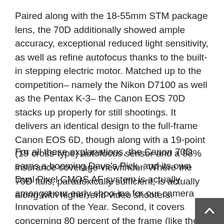Paired along with the 18-55mm STM package lens, the 70D additionally showed ample accuracy, exceptional reduced light sensitivity, as well as refine autofocus thanks to the built-in stepping electric motor. Matched up to the competition– namely the Nikon D7100 as well as the Pentax K-3– the Canon EOS 70D stacks up properly for still shootings. It delivers an identical design to the full-frame Canon EOS 6D, though along with a 19-point (19 cross-type) autofocus sensor and a 98% insurance coverage viewfinder. Where the 70D fails, paradoxically sufficient, is actually along with higher-end video shooters.
For all these explanations, the Canon 70D earns a booming Dave's Pick, and its own Dual Pixel CMOS AF system is actually amongst our early shoo-ins for our camera Innovation of the Year. Second, it covers concerning 80 percent of the frame (like the SL1's implementation), which improves adrift focus performance. And also 3rd, the lens should not need to have to quest which makes operations like shelf focus smoother whe